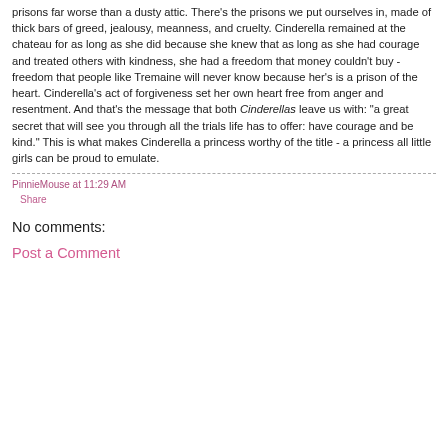prisons far worse than a dusty attic. There's the prisons we put ourselves in, made of thick bars of greed, jealousy, meanness, and cruelty. Cinderella remained at the chateau for as long as she did because she knew that as long as she had courage and treated others with kindness, she had a freedom that money couldn't buy - freedom that people like Tremaine will never know because her's is a prison of the heart. Cinderella's act of forgiveness set her own heart free from anger and resentment. And that's the message that both Cinderellas leave us with: "a great secret that will see you through all the trials life has to offer: have courage and be kind." This is what makes Cinderella a princess worthy of the title - a princess all little girls can be proud to emulate.
PinnieMouse at 11:29 AM
Share
No comments:
Post a Comment